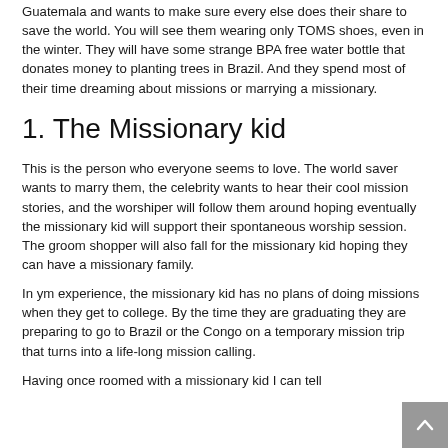Guatemala and wants to make sure every else does their share to save the world. You will see them wearing only TOMS shoes, even in the winter. They will have some strange BPA free water bottle that donates money to planting trees in Brazil. And they spend most of their time dreaming about missions or marrying a missionary.
1. The Missionary kid
This is the person who everyone seems to love. The world saver wants to marry them, the celebrity wants to hear their cool mission stories, and the worshiper will follow them around hoping eventually the missionary kid will support their spontaneous worship session. The groom shopper will also fall for the missionary kid hoping they can have a missionary family.
In ym experience, the missionary kid has no plans of doing missions when they get to college. By the time they are graduating they are preparing to go to Brazil or the Congo on a temporary mission trip that turns into a life-long mission calling.
Having once roomed with a missionary kid I can tell